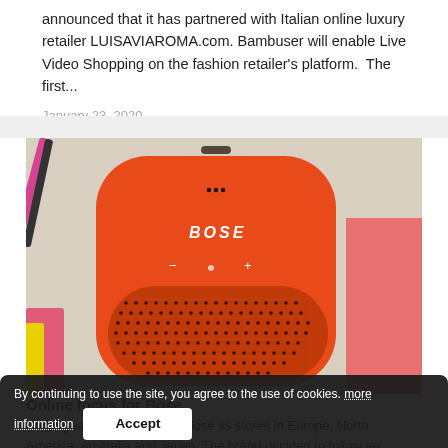announced that it has partnered with Italian online luxury retailer LUISAVIAROMA.com. Bambuser will enable Live Video Shopping on the fashion retailer's platform.  The first...
January 23, 2020
[Figure (photo): Photo of an orange Bose SoundLink Micro Bluetooth speaker on a light surface with colourful pens/pencils visible in the background.]
Online focus for Bose
Audio gear brand Bose will close its stores in Europe, North America, Australia and Japan. The brand decided to follow an online-only strategy after it
By continuing to use the site, you agree to the use of cookies. more information
Accept